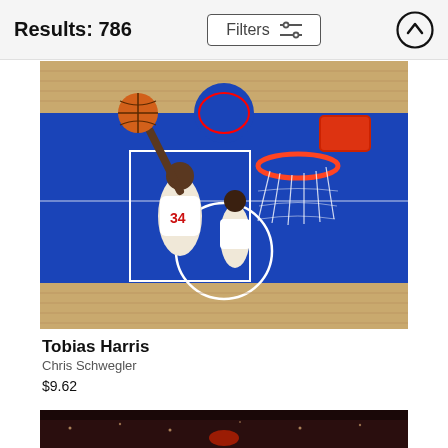Results: 786
Filters
[Figure (photo): Basketball action photo: Tobias Harris (#34) of the Detroit Pistons dunking, with a teammate behind him and the basketball hoop visible. Taken on a court with blue paint and wood floor. Another player in background.]
Tobias Harris
Chris Schwegler
$9.62
[Figure (photo): Partial view of a second sports photo at the bottom of the page, showing a dark arena/crowd scene.]